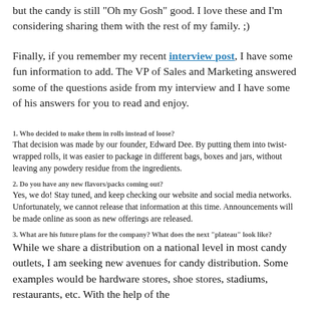but the candy is still "Oh my Gosh" good. I love these and I'm considering sharing them with the rest of my family. ;)
Finally, if you remember my recent interview post, I have some fun information to add. The VP of Sales and Marketing answered some of the questions aside from my interview and I have some of his answers for you to read and enjoy.
1.  Who decided to make them in rolls instead of loose?
That decision was made by our founder, Edward Dee.  By putting them into twist-wrapped rolls, it was easier to package in different bags, boxes and jars, without leaving any powdery residue from the ingredients.
2.  Do you have any new flavors/packs coming out?
Yes, we do!  Stay tuned, and keep checking our website and social media networks.  Unfortunately, we cannot release that information at this time.  Announcements will be made online as soon as new offerings are released.
3. What are his future plans for the company?  What does the next "plateau" look like?
While we share a distribution on a national level in most candy outlets, I am seeking new avenues for candy distribution.  Some examples would be hardware stores, shoe stores, stadiums, restaurants, etc.  With the help of the